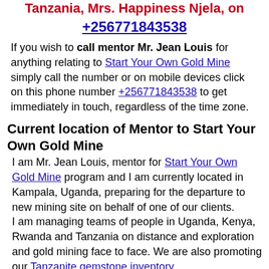Tanzania, Mrs. Happiness Njela, on +256771843538
If you wish to call mentor Mr. Jean Louis for anything relating to Start Your Own Gold Mine simply call the number or on mobile devices click on this phone number +256771843538 to get immediately in touch, regardless of the time zone.
Current location of Mentor to Start Your Own Gold Mine
I am Mr. Jean Louis, mentor for Start Your Own Gold Mine program and I am currently located in Kampala, Uganda, preparing for the departure to new mining site on behalf of one of our clients. I am managing teams of people in Uganda, Kenya, Rwanda and Tanzania on distance and exploration and gold mining face to face. We are also promoting our Tanzanite gemstone inventory. You will need either to contact me or